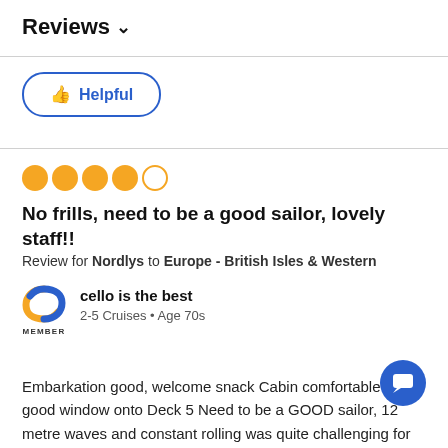Reviews ∨
[Figure (screenshot): Helpful button with thumbs up icon, blue rounded rectangle border]
[Figure (other): 4 filled orange circles and 1 empty orange circle representing a 4 out of 5 star rating]
No frills, need to be a good sailor, lovely staff!!
Review for Nordlys to Europe - British Isles & Western
[Figure (logo): Cruise Critic member logo with orange and blue C shape and MEMBER text below]
cello is the best
2-5 Cruises • Age 70s
Embarkation good, welcome snack Cabin comfortable and good window onto Deck 5 Need to be a GOOD sailor, 12 metre waves and constant rolling was quite challenging for